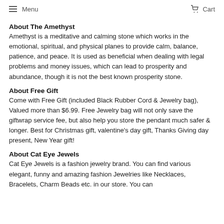Menu   Cart
About The Amethyst
Amethyst is a meditative and calming stone which works in the emotional, spiritual, and physical planes to provide calm, balance, patience, and peace. It is used as beneficial when dealing with legal problems and money issues, which can lead to prosperity and abundance, though it is not the best known prosperity stone.
About Free Gift
Come with Free Gift (included Black Rubber Cord & Jewelry bag), Valued more than $6.99. Free Jewelry bag will not only save the giftwrap service fee, but also help you store the pendant much safer & longer. Best for Christmas gift, valentine's day gift, Thanks Giving day present, New Year gift!
About Cat Eye Jewels
Cat Eye Jewels is a fashion jewelry brand. You can find various elegant, funny and amazing fashion Jewelries like Necklaces, Bracelets, Charm Beads etc. in our store. You can